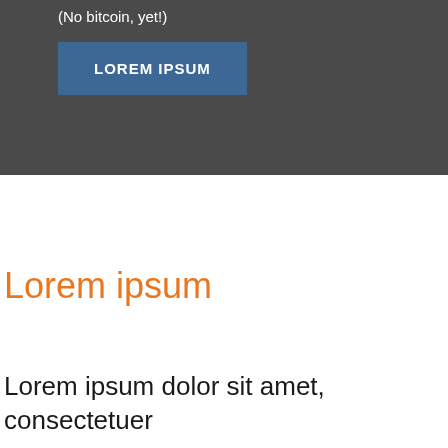(No bitcoin, yet!)
[Figure (other): A blue button labeled LOREM IPSUM on a dark gray background]
Lorem ipsum
Lorem ipsum dolor sit amet, consectetuer